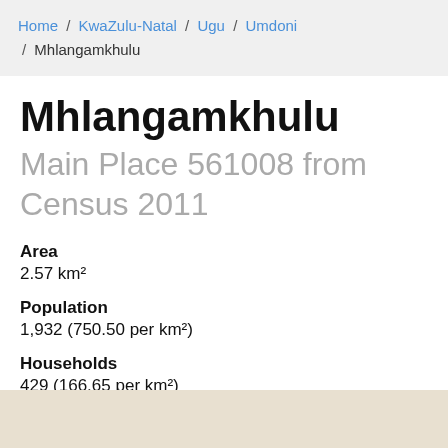Home / KwaZulu-Natal / Ugu / Umdoni / Mhlangamkhulu
Mhlangamkhulu
Main Place 561008 from Census 2011
Area
2.57 km²
Population
1,932 (750.50 per km²)
Households
429 (166.65 per km²)
[Figure (map): Map placeholder showing beige/tan background representing a geographic map area for Mhlangamkhulu]